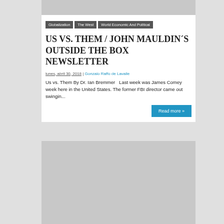[Figure (other): Gray banner image placeholder at top]
Globalization
The West
World Economic And Political
US VS. THEM / JOHN MAULDIN´S OUTSIDE THE BOX NEWSLETTER
lunes, abril 30, 2018 | Gonzalo Raffo de Lavalle
Us vs. Them By Dr. Ian Bremmer   Last week was James Comey week here in the United States. The former FBI director came out swingin...
Read more »
[Figure (other): Gray banner image placeholder at bottom]